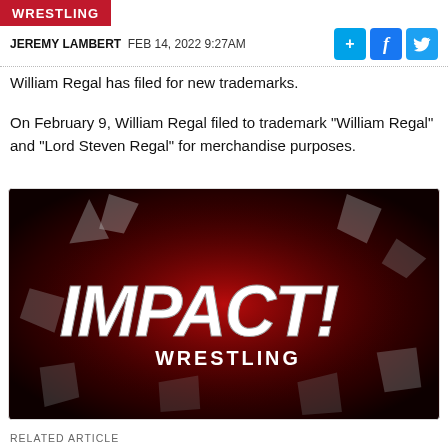WRESTLING
JEREMY LAMBERT  FEB 14, 2022 9:27AM
William Regal has filed for new trademarks.
On February 9, William Regal filed to trademark "William Regal" and "Lord Steven Regal" for merchandise purposes.
[Figure (photo): IMPACT! Wrestling logo on dark red background with shattered glass effect]
RELATED ARTICLE